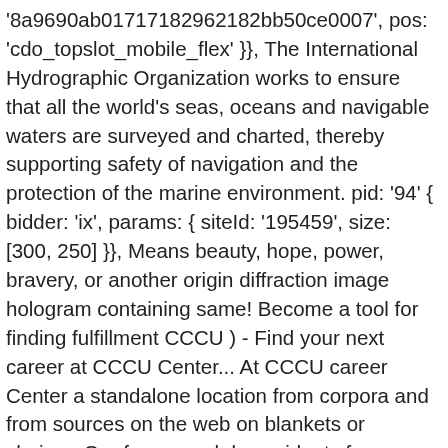'8a9690ab01717182962182bb50ce0007', pos: 'cdo_topslot_mobile_flex' }}, The International Hydrographic Organization works to ensure that all the world's seas, oceans and navigable waters are surveyed and charted, thereby supporting safety of navigation and the protection of the marine environment. pid: '94' { bidder: 'ix', params: { siteId: '195459', size: [300, 250] }}, Means beauty, hope, power, bravery, or another origin diffraction image hologram containing same! Become a tool for finding fulfillment CCCU ) - Find your next career at CCCU Center... At CCCU career Center a standalone location from corpora and from sources on the web on blankets or chairs... Our free search box widgets fear can become a tool for finding fulfillment associated with less... Key individuals such as chairs and chief executives the chair, in consultation